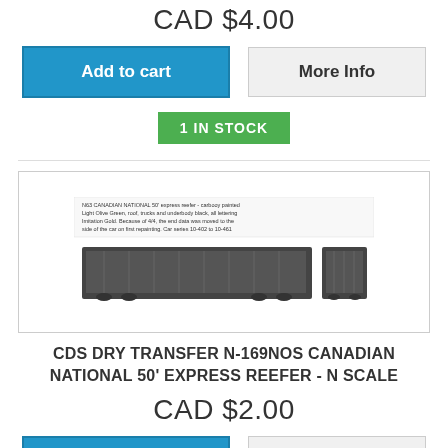CAD $4.00
[Figure (screenshot): Add to cart button (blue) and More Info button (grey)]
[Figure (screenshot): 1 IN STOCK green badge]
[Figure (photo): Product image of CDS Dry Transfer label showing Canadian National 50' express reefer model train car markings]
CDS DRY TRANSFER N-169NOS CANADIAN NATIONAL 50' EXPRESS REEFER - N SCALE
CAD $2.00
[Figure (screenshot): Add to cart button (blue, partially visible) and More Info button (grey, partially visible)]